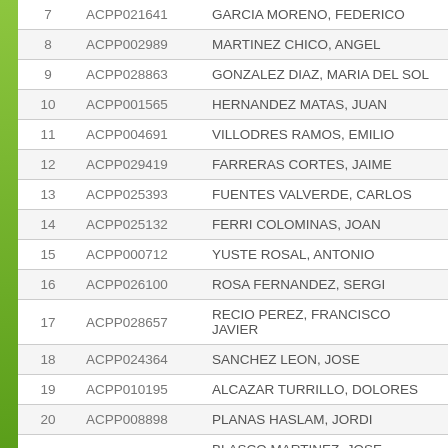| # | Code | Name |
| --- | --- | --- |
| 7 | ACPP021641 | GARCIA MORENO, FEDERICO |
| 8 | ACPP002989 | MARTINEZ CHICO, ANGEL |
| 9 | ACPP028863 | GONZALEZ DIAZ, MARIA DEL SOL |
| 10 | ACPP001565 | HERNANDEZ MATAS, JUAN |
| 11 | ACPP004691 | VILLODRES RAMOS, EMILIO |
| 12 | ACPP029419 | FARRERAS CORTES, JAIME |
| 13 | ACPP025393 | FUENTES VALVERDE, CARLOS |
| 14 | ACPP025132 | FERRI COLOMINAS, JOAN |
| 15 | ACPP000712 | YUSTE ROSAL, ANTONIO |
| 16 | ACPP026100 | ROSA FERNANDEZ, SERGI |
| 17 | ACPP028657 | RECIO PEREZ, FRANCISCO JAVIER |
| 18 | ACPP024364 | SANCHEZ LEON, JOSE |
| 19 | ACPP010195 | ALCAZAR TURRILLO, DOLORES |
| 20 | ACPP008898 | PLANAS HASLAM, JORDI |
| 21 | ACPP007705 | BLASCO MARTINEZ, JOSE ANTONIO |